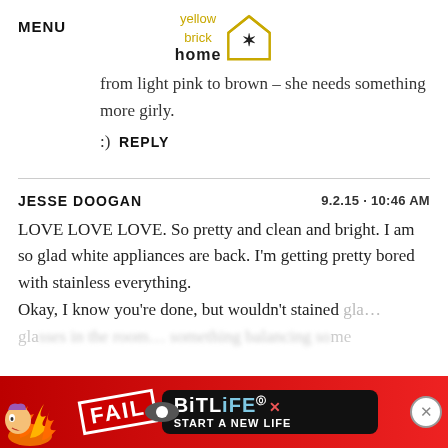MENU | Yellow Brick Home logo
from light pink to brown – she needs something more girly.
:)  REPLY
JESSE DOOGAN   9.2.15 · 10:46 AM
LOVE LOVE LOVE. So pretty and clean and bright. I am so glad white appliances are back. I'm getting pretty bored with stainless everything.
Okay, I know you're done, but wouldn't stained gla... something something
[Figure (advertisement): BitLife advertisement with FAIL text and 'Start a New Life' tagline on red background with cartoon character]